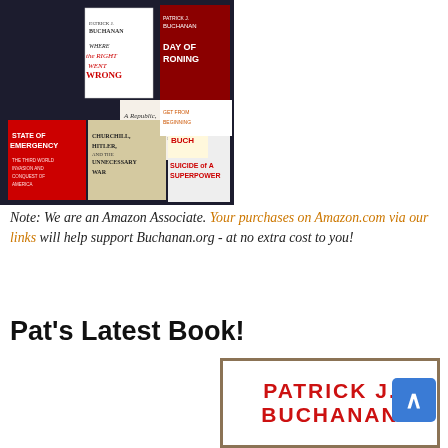[Figure (photo): Collage of Patrick J. Buchanan book covers including 'Where the Right Went Wrong', 'State of Emergency', 'Churchill, Hitler and the Unnecessary War', 'Suicide of a Superpower', 'A Republic, Not an Empire', 'Day of Reckoning', and others, displayed on a dark background with an Amazon logo in the lower-left corner.]
Note: We are an Amazon Associate. Your purchases on Amazon.com via our links will help support Buchanan.org - at no extra cost to you!
Pat's Latest Book!
[Figure (photo): Partial view of a book cover showing 'PATRICK J. BUCHANAN' in large red bold text on a white background with a brown border frame.]